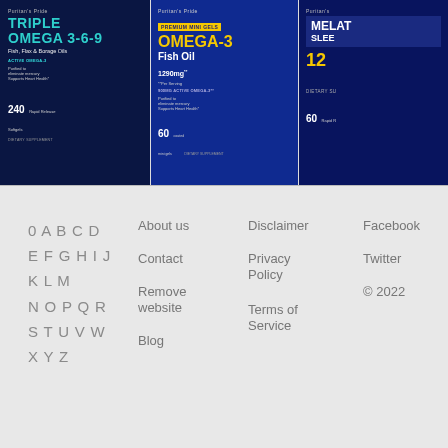[Figure (photo): Three Puritan's Pride supplement bottles side by side: Triple Omega 3-6-9 Fish, Flax & Borage Oils 240 softgels (dark background), Omega-3 Fish Oil 1290mg Premium Mini Gels 60 mini gels (blue/yellow), and Melatonin Sleep supplement 60 Rapid Release (partially visible, blue/navy)]
0 A B C D
E F G H I J
K L M
N O P Q R
S T U V W
X Y Z
About us
Contact
Remove website
Blog
Disclaimer
Privacy Policy
Terms of Service
Facebook
Twitter
© 2022